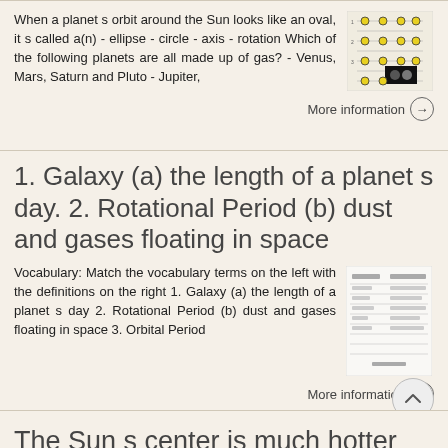When a planet s orbit around the Sun looks like an oval, it s called a(n) - ellipse - circle - axis - rotation Which of the following planets are all made up of gas? - Venus, Mars, Saturn and Pluto - Jupiter,
[Figure (illustration): Small educational diagram thumbnail showing planets or solar system diagram with yellow and black elements]
More information →
1. Galaxy (a) the length of a planet s day. 2. Rotational Period (b) dust and gases floating in space
Vocabulary: Match the vocabulary terms on the left with the definitions on the right 1. Galaxy (a) the length of a planet s day 2. Rotational Period (b) dust and gases floating in space 3. Orbital Period
[Figure (screenshot): Small thumbnail of a vocabulary worksheet with text columns]
More information →
The Sun s center is much hotter than the